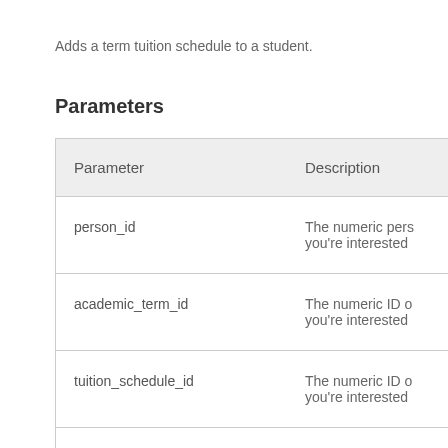Adds a term tuition schedule to a student.
Parameters
| Parameter | Description |
| --- | --- |
| person_id | The numeric pers… you're interested |
| academic_term_id | The numeric ID o… you're interested |
| tuition_schedule_id | The numeric ID o… you're interested |